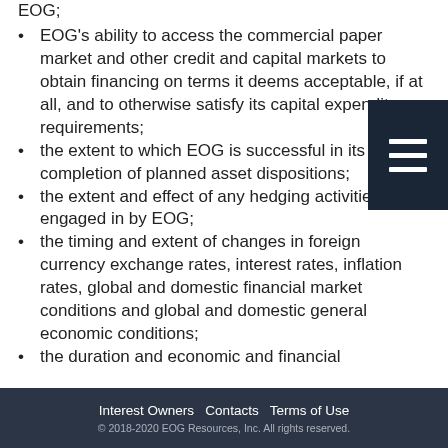EOG's ability to access the commercial paper market and other credit and capital markets to obtain financing on terms it deems acceptable, if at all, and to otherwise satisfy its capital expenditure requirements;
the extent to which EOG is successful in its completion of planned asset dispositions;
the extent and effect of any hedging activities engaged in by EOG;
the timing and extent of changes in foreign currency exchange rates, interest rates, inflation rates, global and domestic financial market conditions and global and domestic general economic conditions;
the duration and economic and financial
Interest Owners  Contacts  Terms of Use
© 2018-2020 EOG Resources, Inc. All rights reserved.